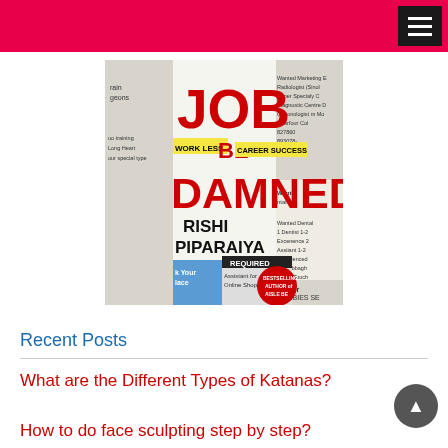[Figure (photo): Book cover of 'Job Be Damned' by Rishi Piparaiya, shown against a background of newspaper job advertisements. The cover features the title in large red and black letters with yellow highlighted strips reading 'WORK LESS', 'BE', 'CAREER SUCCESS', and 'DAMNED'.]
Recent Posts
What are the Different Types of Katanas?
How to do face sculpting step by step?